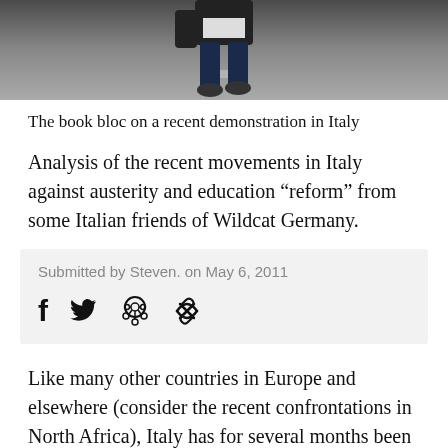[Figure (photo): Photo of a person (book bloc participant) walking on a road/street during a demonstration in Italy. The lower portion of the image is visible showing the person from waist down wearing dark pants and jacket.]
The book bloc on a recent demonstration in Italy
Analysis of the recent movements in Italy against austerity and education "reform" from some Italian friends of Wildcat Germany.
Submitted by Steven. on May 6, 2011
Like many other countries in Europe and elsewhere (consider the recent confrontations in North Africa), Italy has for several months been the scene of social struggles qualitatively and quantitatively unlike any seen for some time.